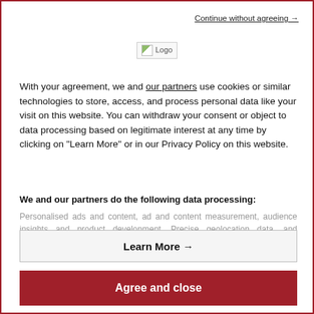Continue without agreeing →
[Figure (logo): Logo image placeholder]
With your agreement, we and our partners use cookies or similar technologies to store, access, and process personal data like your visit on this website. You can withdraw your consent or object to data processing based on legitimate interest at any time by clicking on "Learn More" or in our Privacy Policy on this website.
We and our partners do the following data processing:
Personalised ads and content, ad and content measurement, audience insights and product development, Precise geolocation data, and identification through device scanning, Store and/or access information on a device
Learn More →
Agree and close